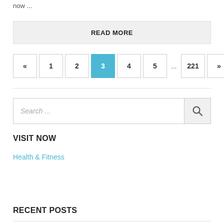now ...
READ MORE
« 1 2 3 4 5 ... 221 »
Search ...
VISIT NOW
Health & Fitness
RECENT POSTS